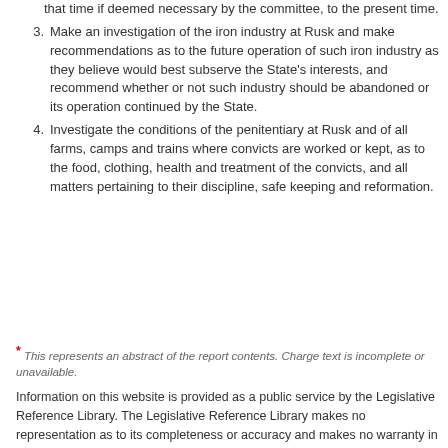that time if deemed necessary by the committee, to the present time.
3. Make an investigation of the iron industry at Rusk and make recommendations as to the future operation of such iron industry as they believe would best subserve the State's interests, and recommend whether or not such industry should be abandoned or its operation continued by the State.
4. Investigate the conditions of the penitentiary at Rusk and of all farms, camps and trains where convicts are worked or kept, as to the food, clothing, health and treatment of the convicts, and all matters pertaining to their discipline, safe keeping and reformation.
* This represents an abstract of the report contents. Charge text is incomplete or unavailable.
Information on this website is provided as a public service by the Legislative Reference Library. The Legislative Reference Library makes no representation as to its completeness or accuracy and makes no warranty in regard to its use. Users assume all risk of reliance on the information included on this site.